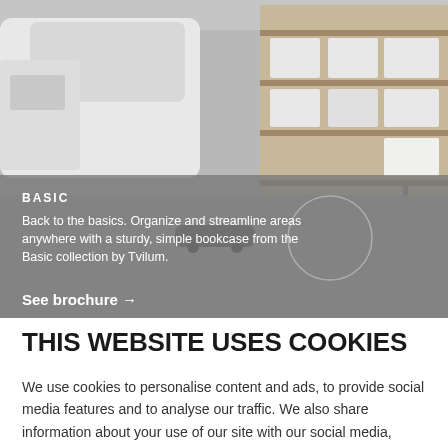[Figure (photo): Photo of a garage with a white car on the left, shelving units with storage boxes on the right, a blue bucket and mop near the shelves, and a skateboard on the floor. The lower portion has a gray semi-transparent overlay with text about the Basic collection by Tvilum.]
BASIC
Back to the basics. Organize and streamline areas anywhere with a sturdy, simple bookcase from the Basic collection by Tvilum.
See brochure →
THIS WEBSITE USES COOKIES
We use cookies to personalise content and ads, to provide social media features and to analyse our traffic. We also share information about your use of our site with our social media, advertising and